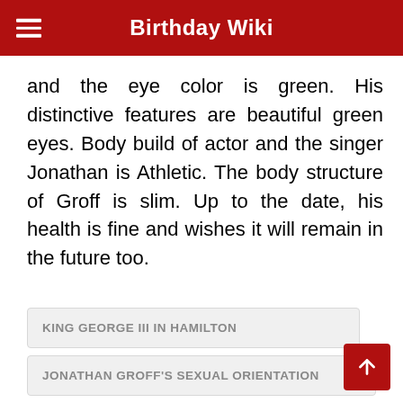Birthday Wiki
and the eye color is green. His distinctive features are beautiful green eyes. Body build of actor and the singer Jonathan is Athletic. The body structure of Groff is slim. Up to the date, his health is fine and wishes it will remain in the future too.
KING GEORGE III IN HAMILTON
JONATHAN GROFF'S SEXUAL ORIENTATION